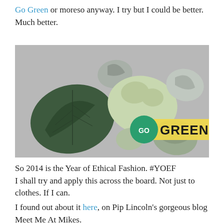Go Green or moreso anyway. I try but I could be better. Much better.
[Figure (photo): Photo of multiple leaf-shaped ceramic and metal dishes/plates in various shades of green and silver, with a circular green 'GO' badge and bold 'GREEN' text overlaid on the lower right of the image.]
So 2014 is the Year of Ethical Fashion. #YOEF
I shall try and apply this across the board. Not just to clothes. If I can.
I found out about it here, on Pip Lincoln's gorgeous blog Meet Me At Mikes.